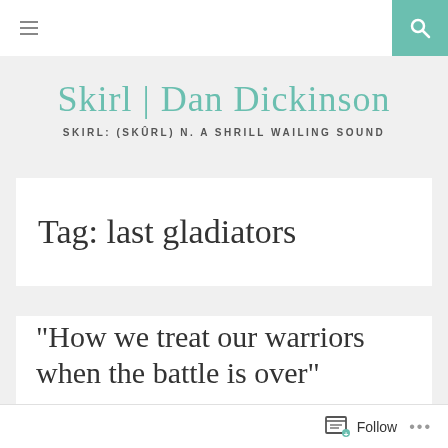≡  [search icon]
Skirl | Dan Dickinson
SKIRL: (SKÛRL) N. A SHRILL WAILING SOUND
Tag: last gladiators
"How we treat our warriors when the battle is over"
Follow ...